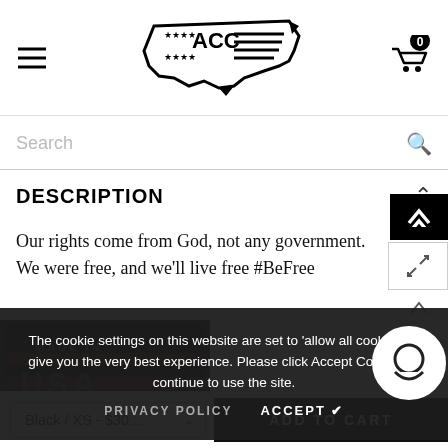[Figure (logo): ACC logo: USA map shape with stars and stripes pattern and ACC text in center, black and white]
[Figure (other): Shopping cart icon with 0 badge]
Search
DESCRIPTION
Our rights come from God, not any government. We were free, and we'll live free #BeFree
[Figure (other): Made in USA badge with American flag background]
The cookie settings on this website are set to 'allow all cookies' to give you the very best experience. Please click Accept Cookies to continue to use the site.
PRIVACY POLICY
ACCEPT ✔
Black / XS - $30....
ADD TO CART